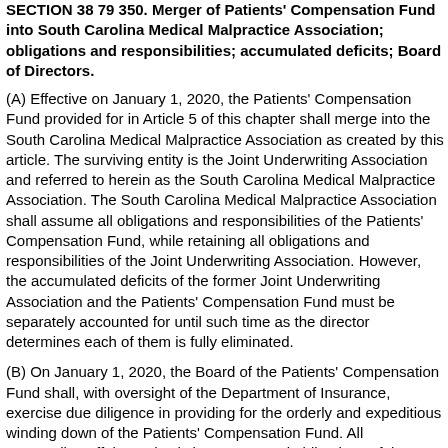SECTION 38 79 350. Merger of Patients' Compensation Fund into South Carolina Medical Malpractice Association; obligations and responsibilities; accumulated deficits; Board of Directors.
(A) Effective on January 1, 2020, the Patients' Compensation Fund provided for in Article 5 of this chapter shall merge into the South Carolina Medical Malpractice Association as created by this article. The surviving entity is the Joint Underwriting Association and referred to herein as the South Carolina Medical Malpractice Association. The South Carolina Medical Malpractice Association shall assume all obligations and responsibilities of the Patients' Compensation Fund, while retaining all obligations and responsibilities of the Joint Underwriting Association. However, the accumulated deficits of the former Joint Underwriting Association and the Patients' Compensation Fund must be separately accounted for until such time as the director determines each of them is fully eliminated.
(B) On January 1, 2020, the Board of the Patients' Compensation Fund shall, with oversight of the Department of Insurance, exercise due diligence in providing for the orderly and expeditious winding down of the Patients' Compensation Fund. All outstanding affairs and existing contractual obligations of the Patients' Compensation Fund shall